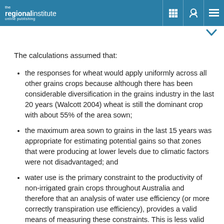the regional institute online publishing
The calculations assumed that:
the responses for wheat would apply uniformly across all other grains crops because although there has been considerable diversification in the grains industry in the last 20 years (Walcott 2004) wheat is still the dominant crop with about 55% of the area sown;
the maximum area sown to grains in the last 15 years was appropriate for estimating potential gains so that zones that were producing at lower levels due to climatic factors were not disadvantaged; and
water use is the primary constraint to the productivity of non-irrigated grain crops throughout Australia and therefore that an analysis of water use efficiency (or more correctly transpiration use efficiency), provides a valid means of measuring these constraints. This is less valid for the higher rainfall zones such as Vic High Rainfall and eastern portions of NSW/Vic Slopes where